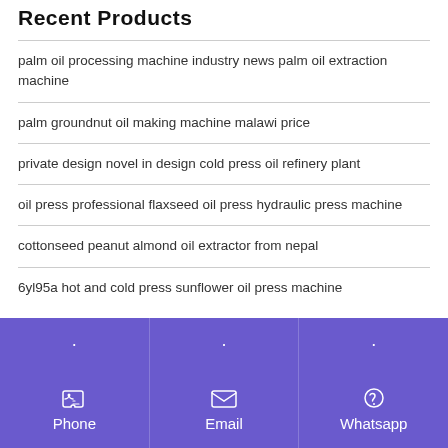Recent Products
palm oil processing machine industry news palm oil extraction machine
palm groundnut oil making machine malawi price
private design novel in design cold press oil refinery plant
oil press professional flaxseed oil press hydraulic press machine
cottonseed peanut almond oil extractor from nepal
6yl95a hot and cold press sunflower oil press machine
Phone   Email   Whatsapp